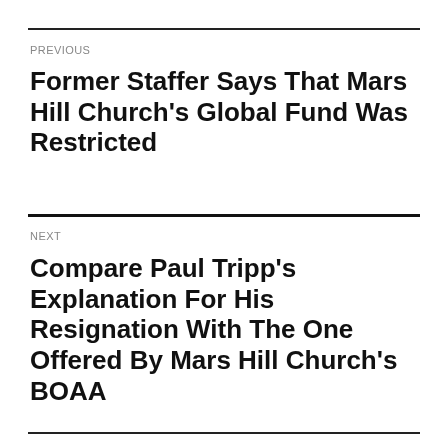PREVIOUS
Former Staffer Says That Mars Hill Church's Global Fund Was Restricted
NEXT
Compare Paul Tripp's Explanation For His Resignation With The One Offered By Mars Hill Church's BOAA